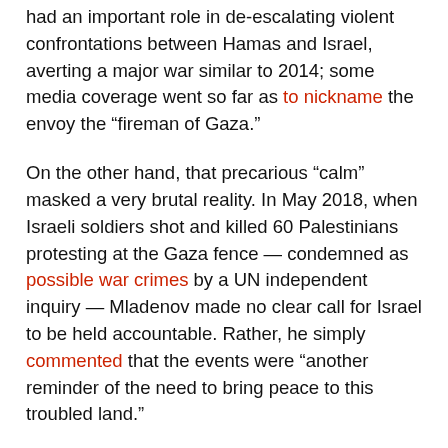had an important role in de-escalating violent confrontations between Hamas and Israel, averting a major war similar to 2014; some media coverage went so far as to nickname the envoy the “fireman of Gaza.”
On the other hand, that precarious “calm” masked a very brutal reality. In May 2018, when Israeli soldiers shot and killed 60 Palestinians protesting at the Gaza fence — condemned as possible war crimes by a UN independent inquiry — Mladenov made no clear call for Israel to be held accountable. Rather, he simply commented that the events were “another reminder of the need to bring peace to this troubled land.”
After hundreds of Palestinians were either killed or wounded, he merely reminded that “Israeli security forces have the responsibility to exercise restraint and lethal force,” showing no intention of rallying diplomatic weight to ensure that